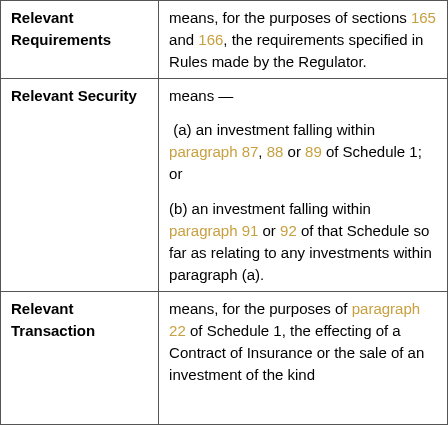| Term | Definition |
| --- | --- |
| Relevant Requirements | means, for the purposes of sections 165 and 166, the requirements specified in Rules made by the Regulator. |
| Relevant Security | means —
(a) an investment falling within paragraph 87, 88 or 89 of Schedule 1; or
(b) an investment falling within paragraph 91 or 92 of that Schedule so far as relating to any investments within paragraph (a). |
| Relevant Transaction | means, for the purposes of paragraph 22 of Schedule 1, the effecting of a Contract of Insurance or the sale of an investment of the kind |